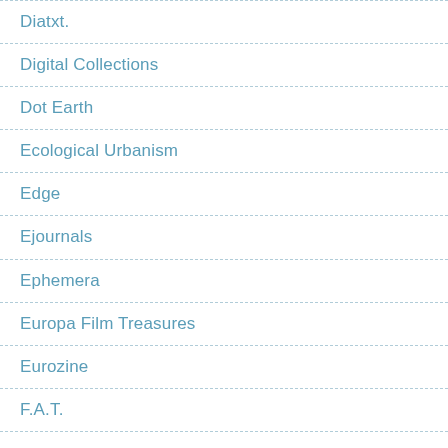Diatxt.
Digital Collections
Dot Earth
Ecological Urbanism
Edge
Ejournals
Ephemera
Europa Film Treasures
Eurozine
F.A.T.